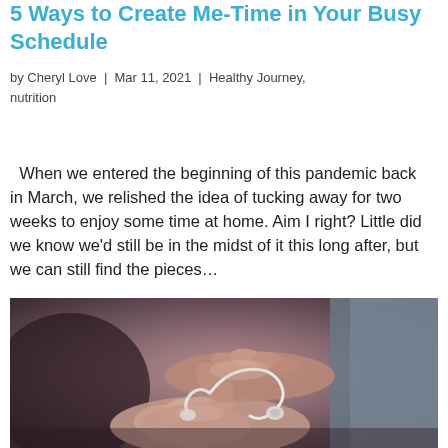5 Ways to Create Me-Time in Your Busy Schedule
by Cheryl Love  |  Mar 11, 2021  |  Healthy Journey, nutrition
When we entered the beginning of this pandemic back in March, we relished the idea of tucking away for two weeks to enjoy some time at home. Aim I right? Little did we know we'd still be in the midst of it this long after, but we can still find the pieces…
[Figure (photo): Close-up photo of hands holding and untangling white earphone/headphone cables, with a blurred grey garment in the background. Dark moody background tones.]